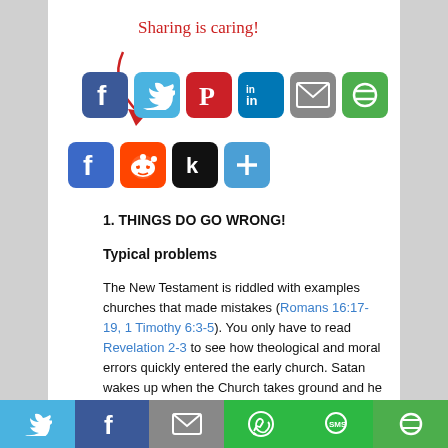[Figure (infographic): Sharing is caring label with red arrow and social sharing buttons row 1: Facebook, Twitter, Pinterest, LinkedIn, Email, Strikethru]
[Figure (infographic): Second row of social sharing buttons: Facebook, Reddit, Koofer, Share/Plus]
1. THINGS DO GO WRONG!
Typical problems
The New Testament is riddled with examples churches that made mistakes (Romans 16:17-19, 1 Timothy 6:3-5). You only have to read Revelation 2-3 to see how theological and moral errors quickly entered the early church. Satan wakes up when the Church takes ground and he will often use the weak points in human nature to
[Figure (infographic): Bottom sharing bar with Twitter, Facebook, Email, WhatsApp, SMS, and Strikethru icons]